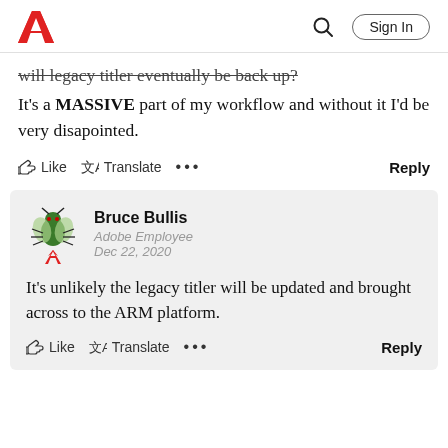Adobe | Sign In
will legacy titler eventually be back up? It's a MASSIVE part of my workflow and without it I'd be very disapointed.
Like  Translate  ...  Reply
Bruce Bullis
Adobe Employee
Dec 22, 2020
It's unlikely the legacy titler will be updated and brought across to the ARM platform.
Like  Translate  ...  Reply